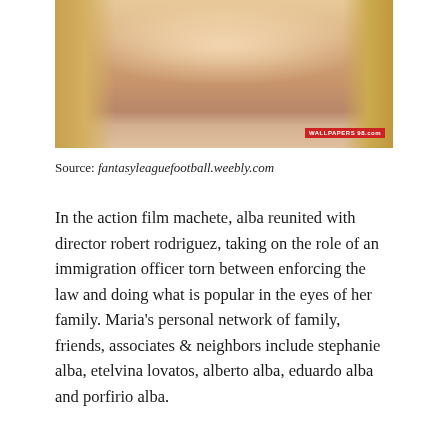[Figure (photo): Cropped photo of a woman with blonde hair and a black beaded necklace, wearing a white outfit. Watermark 'WALLPAPERS 98.com' visible in bottom right corner.]
Source: fantasyleaguefootball.weebly.com
In the action film machete, alba reunited with director robert rodriguez, taking on the role of an immigration officer torn between enforcing the law and doing what is popular in the eyes of her family. Maria's personal network of family, friends, associates & neighbors include stephanie alba, etelvina lovatos, alberto alba, eduardo alba and porfirio alba.